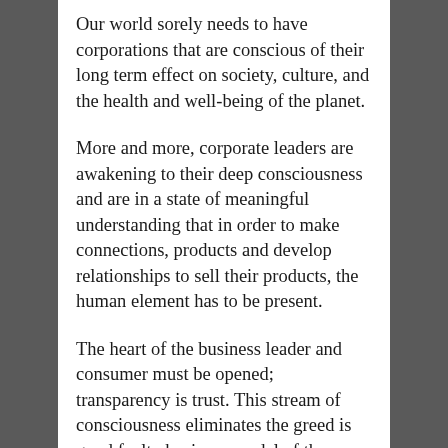Our world sorely needs to have corporations that are conscious of their long term effect on society, culture, and the health and well-being of the planet.
More and more, corporate leaders are awakening to their deep consciousness and are in a state of meaningful understanding that in order to make connections, products and develop relationships to sell their products, the human element has to be present.
The heart of the business leader and consumer must be opened; transparency is trust. This stream of consciousness eliminates the greed is good faulty business model of the twentieth-century,